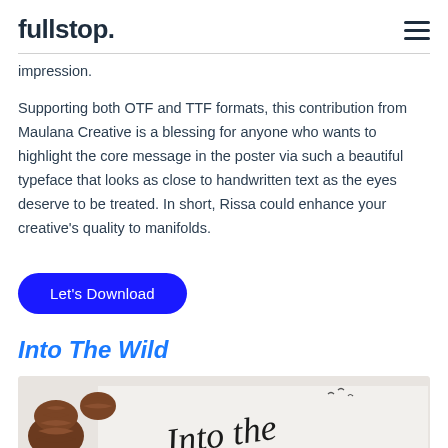fullstop.
impression.
Supporting both OTF and TTF formats, this contribution from Maulana Creative is a blessing for anyone who wants to highlight the core message in the poster via such a beautiful typeface that looks as close to handwritten text as the eyes deserve to be treated. In short, Rissa could enhance your creative’s quality to manifolds.
Let’s Download
Into The Wild
[Figure (photo): Photograph showing pine cones on a light surface with handwritten script text reading 'Into the' in cursive]